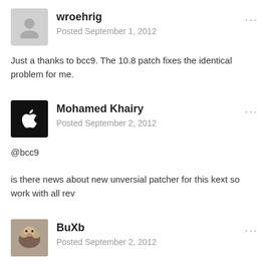wroehrig
Posted September 1, 2012
Just a thanks to bcc9. The 10.8 patch fixes the identical problem for me.
Mohamed Khairy
Posted September 2, 2012
@bcc9

is there news about new unversial patcher for this kext so work with all rev
BuXb
Posted September 2, 2012